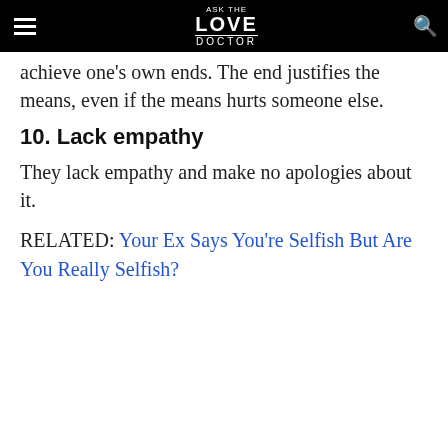ASK THE LOVE DOCTOR
…p…g… achieve one's own ends. The end justifies the means, even if the means hurts someone else.
10. Lack empathy
They lack empathy and make no apologies about it.
RELATED: Your Ex Says You're Selfish But Are You Really Selfish?